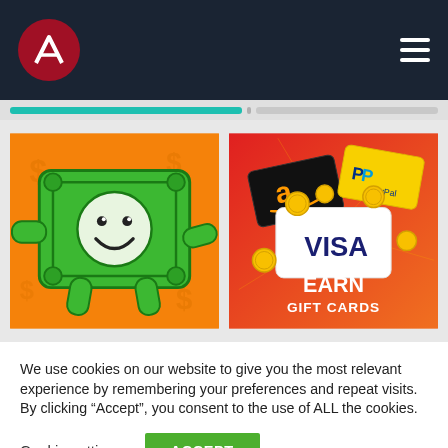Navigation header with logo and menu icon
[Figure (illustration): Left panel: cartoon green smiling dollar bill character on orange background with dollar signs]
[Figure (illustration): Right panel: Earn gift cards promotional image showing Amazon, PayPal, and Visa cards with gold coins on red/orange gradient background. Text reads EARN GIFT CARDS]
We use cookies on our website to give you the most relevant experience by remembering your preferences and repeat visits. By clicking “Accept”, you consent to the use of ALL the cookies.
Cookie settings
ACCEPT